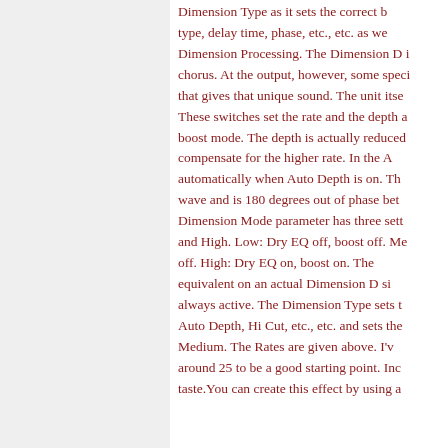Dimension Type as it sets the correct boost type, delay time, phase, etc., etc. as well as Dimension Processing. The Dimension D is chorus. At the output, however, some special circuit that gives that unique sound. The unit itself... These switches set the rate and the depth and boost mode. The depth is actually reduced to compensate for the higher rate. In the A... automatically when Auto Depth is on. The wave and is 180 degrees out of phase bet... Dimension Mode parameter has three settings and High. Low: Dry EQ off, boost off. Me... off. High: Dry EQ on, boost on. The equivalent on an actual Dimension D si... always active. The Dimension Type sets the Auto Depth, Hi Cut, etc., etc. and sets the Medium. The Rates are given above. I've around 25 to be a good starting point. Inc... taste.You can create this effect by using a